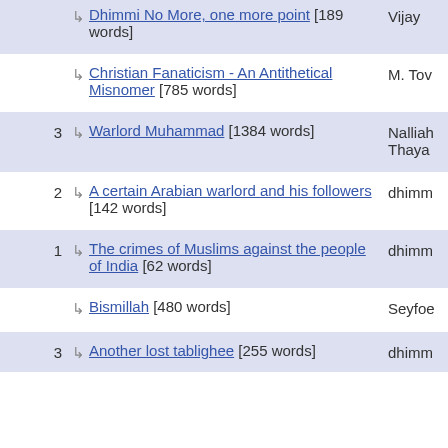Dhimmi No More, one more point [189 words] - Vijay
Christian Fanaticism - An Antithetical Misnomer [785 words] - M. Tow
3 Warlord Muhammad [1384 words] - Nalliah Thaya
2 A certain Arabian warlord and his followers [142 words] - dhimm
1 The crimes of Muslims against the people of India [62 words] - dhimm
Bismillah [480 words] - Seyfoe
3 Another lost tablighee [255 words] - dhimm